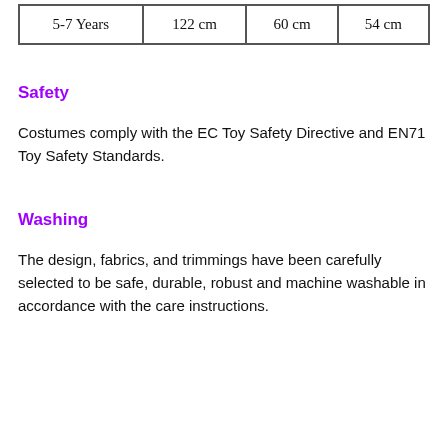| 5-7 Years | 122 cm | 60 cm | 54 cm |
Safety
Costumes comply with the EC Toy Safety Directive and EN71 Toy Safety Standards.
Washing
The design, fabrics, and trimmings have been carefully selected to be safe, durable, robust and machine washable in accordance with the care instructions.